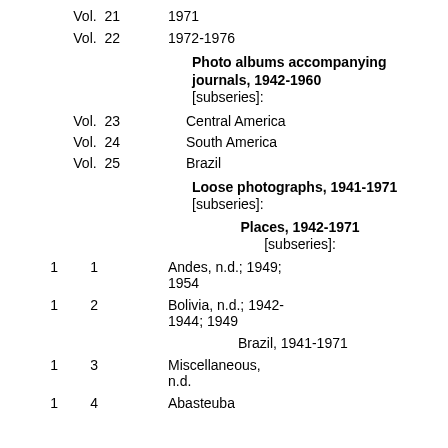Vol. 21   1971
Vol. 22   1972-1976
Photo albums accompanying journals, 1942-1960 [subseries]:
Vol. 23   Central America
Vol. 24   South America
Vol. 25   Brazil
Loose photographs, 1941-1971 [subseries]:
Places, 1942-1971 [subseries]:
1  1   Andes, n.d.; 1949; 1954
1  2   Bolivia, n.d.; 1942-1944; 1949
Brazil, 1941-1971
1  3   Miscellaneous, n.d.
1  4   Abasteuba